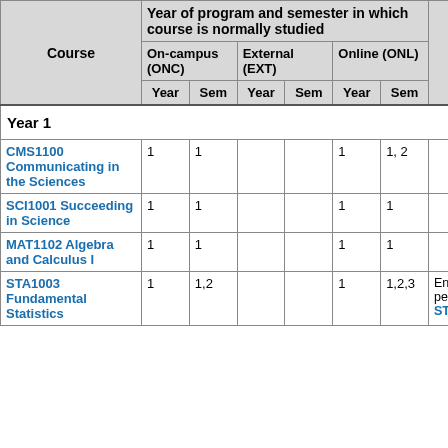| Course | Year of program and semester in which course is normally studied | Enrolment requirements |
| --- | --- | --- |
|  | On-campus (ONC) | External (EXT) | Online (ONL) |  |
|  | Year | Sem | Year | Sem | Year | Sem |  |
| Year 1 |  |  |  |  |  |  |  |
| CMS1100 Communicating in the Sciences | 1 | 1 |  |  | 1 | 1, 2 |  |
| SCI1001 Succeeding in Science | 1 | 1 |  |  | 1 | 1 |  |
| MAT1102 Algebra and Calculus I | 1 | 1 |  |  | 1 | 1 |  |
| STA1003 Fundamental Statistics | 1 | 1,2 |  |  | 1 | 1,2,3 | Enrolment is not permitted in STA1003 i... |